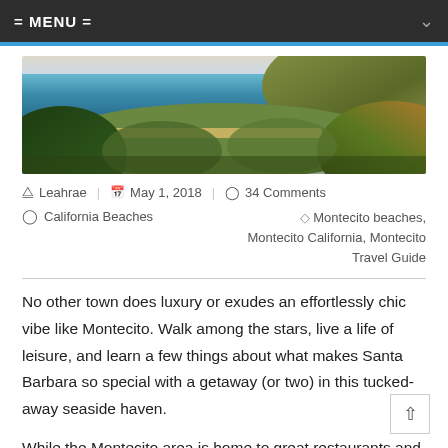= MENU =
[Figure (photo): Aerial coastal panoramic view of Montecito/Santa Barbara area showing blue ocean, beach, palm trees, and hillside vegetation]
Leahrae  |  May 1, 2018  |  34 Comments
California Beaches    Montecito beaches, Montecito California, Montecito Travel Guide
No other town does luxury or exudes an effortlessly chic vibe like Montecito. Walk among the stars, live a life of leisure, and learn a few things about what makes Santa Barbara so special with a getaway (or two) in this tucked-away seaside haven.
While the Montecito area is home to great restaurants and shopping, its natural assets are the real stars of the show. Lace